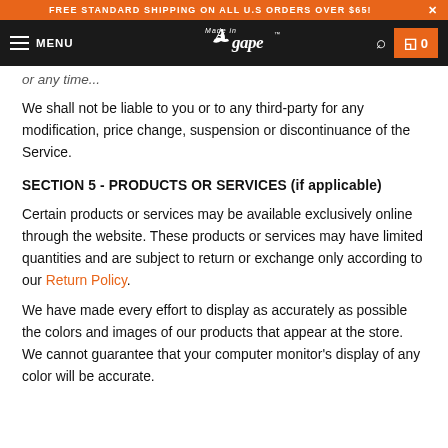FREE STANDARD SHIPPING ON ALL U.S ORDERS OVER $65! X
MENU | Made in Agape | [search] [cart 0]
or any time...
We shall not be liable to you or to any third-party for any modification, price change, suspension or discontinuance of the Service.
SECTION 5 - PRODUCTS OR SERVICES (if applicable)
Certain products or services may be available exclusively online through the website. These products or services may have limited quantities and are subject to return or exchange only according to our Return Policy.
We have made every effort to display as accurately as possible the colors and images of our products that appear at the store. We cannot guarantee that your computer monitor's display of any color will be accurate.